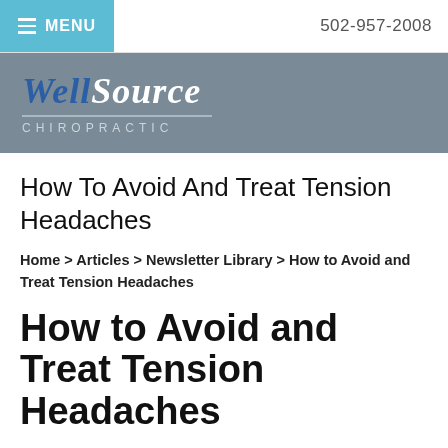MENU   502-957-2008
[Figure (logo): WellSource Chiropractic logo with italic blue and white text on grey banner background]
How To Avoid And Treat Tension Headaches
Home > Articles > Newsletter Library > How to Avoid and Treat Tension Headaches
How to Avoid and Treat Tension Headaches